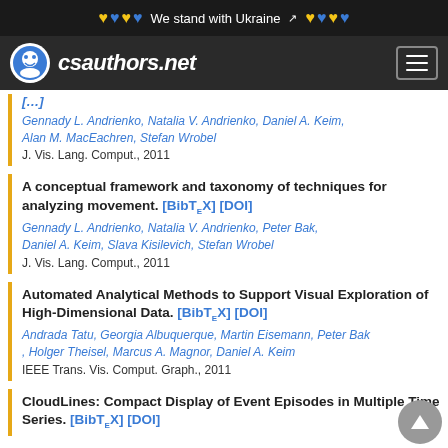We stand with Ukraine
csauthors.net
Gennady L. Andrienko, Natalia V. Andrienko, Daniel A. Keim, Alan M. MacEachren, Stefan Wrobel
J. Vis. Lang. Comput., 2011
A conceptual framework and taxonomy of techniques for analyzing movement. [BibTeX] [DOI]
Gennady L. Andrienko, Natalia V. Andrienko, Peter Bak, Daniel A. Keim, Slava Kisilevich, Stefan Wrobel
J. Vis. Lang. Comput., 2011
Automated Analytical Methods to Support Visual Exploration of High-Dimensional Data. [BibTeX] [DOI]
Andrada Tatu, Georgia Albuquerque, Martin Eisemann, Peter Bak, Holger Theisel, Marcus A. Magnor, Daniel A. Keim
IEEE Trans. Vis. Comput. Graph., 2011
CloudLines: Compact Display of Event Episodes in Multiple Time Series. [BibTeX] [DOI]